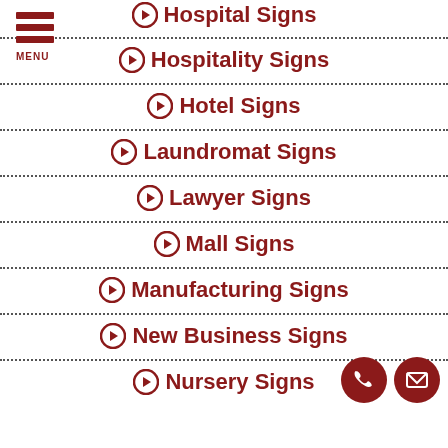[Figure (logo): Hamburger menu icon with three red bars and MENU label]
Hospital Signs
Hospitality Signs
Hotel Signs
Laundromat Signs
Lawyer Signs
Mall Signs
Manufacturing Signs
New Business Signs
Nursery Signs